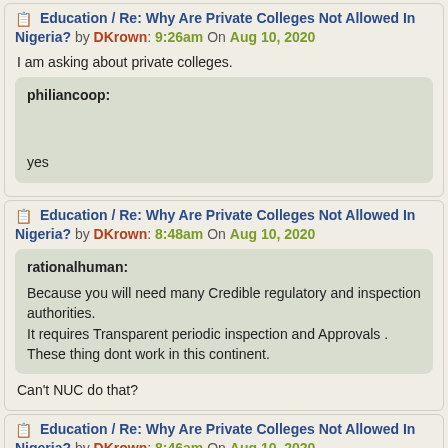Education / Re: Why Are Private Colleges Not Allowed In Nigeria? by DKrown: 9:26am On Aug 10, 2020
I am asking about private colleges.
philiancoop:

yes
Education / Re: Why Are Private Colleges Not Allowed In Nigeria? by DKrown: 8:48am On Aug 10, 2020
rationalhuman:
Because you will need many Credible regulatory and inspection authorities.
It requires Transparent periodic inspection and Approvals . These thing dont work in this continent.
Can't NUC do that?
Education / Re: Why Are Private Colleges Not Allowed In Nigeria? by DKrown: 8:46am On Aug 10, 2020